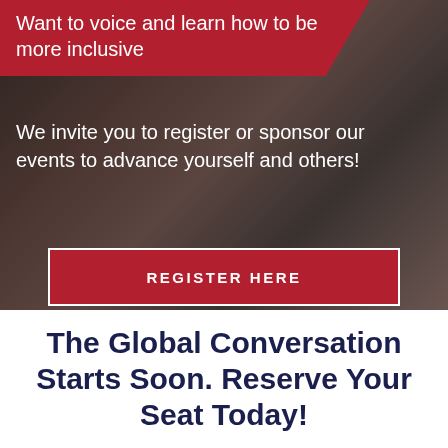Want to voice and learn how to be more inclusive
We invite you to register or sponsor our events to advance yourself and others!
REGISTER HERE
The Global Conversation Starts Soon. Reserve Your Seat Today!